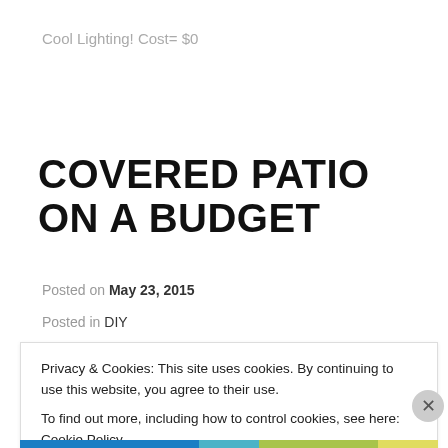Cool Lighting!  Cost= $0
COVERED PATIO ON A BUDGET
Posted on May 23, 2015
Posted in DIY
Privacy & Cookies: This site uses cookies. By continuing to use this website, you agree to their use.
To find out more, including how to control cookies, see here: Cookie Policy
Close and accept